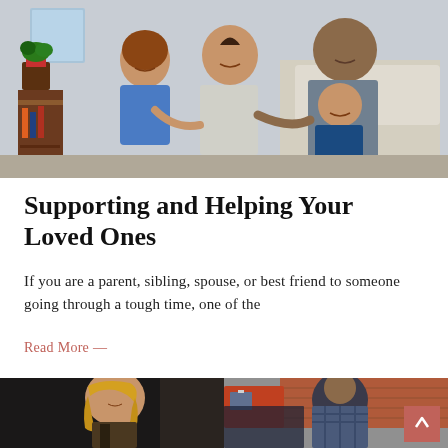[Figure (photo): A happy family of four — two parents and two young children — sitting together and laughing in a bright indoor setting.]
Supporting and Helping Your Loved Ones
If you are a parent, sibling, spouse, or best friend to someone going through a tough time, one of the
Read More →
[Figure (photo): Split image: on the left, a woman with blonde hair looking downward; on the right, a man in a plaid jacket sitting near a truck.]